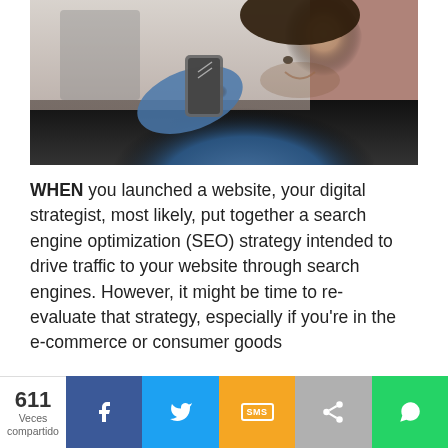[Figure (photo): A man in a blue denim shirt holding a smartphone close to his face, smiling, appearing to use voice or speaker function on the phone. Background is blurred office setting.]
WHEN you launched a website, your digital strategist, most likely, put together a search engine optimization (SEO) strategy intended to drive traffic to your website through search engines. However, it might be time to re-evaluate that strategy, especially if you're in the e-commerce or consumer goods
611 Veces compartido